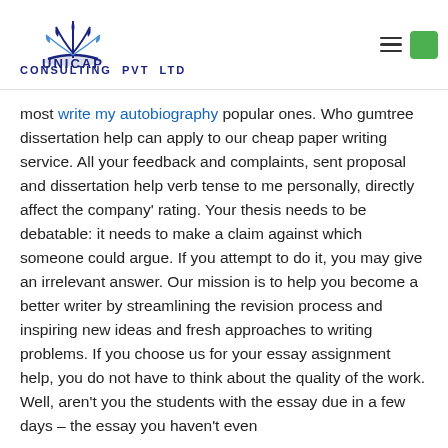[Figure (logo): Unicap Consulting Pvt Ltd logo with peacock feather SVG icon above the company name]
most write my autobiography popular ones. Who gumtree dissertation help can apply to our cheap paper writing service. All your feedback and complaints, sent proposal and dissertation help verb tense to me personally, directly affect the company' rating. Your thesis needs to be debatable: it needs to make a claim against which someone could argue. If you attempt to do it, you may give an irrelevant answer. Our mission is to help you become a better writer by streamlining the revision process and inspiring new ideas and fresh approaches to writing problems. If you choose us for your essay assignment help, you do not have to think about the quality of the work. Well, aren't you the students with the essay due in a few days – the essay you haven't even